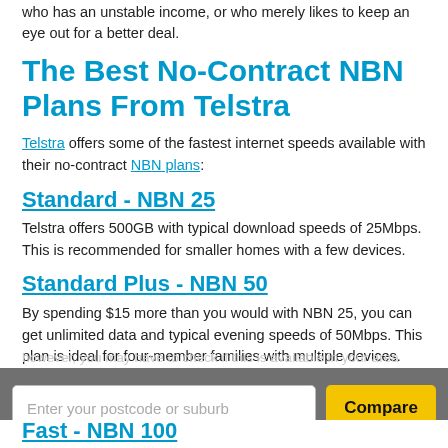who has an unstable income, or who merely likes to keep an eye out for a better deal.
The Best No-Contract NBN Plans From Telstra
Telstra offers some of the fastest internet speeds available with their no-contract NBN plans:
Standard - NBN 25
Telstra offers 500GB with typical download speeds of 25Mbps. This is recommended for smaller homes with a few devices.
Standard Plus - NBN 50
By spending $15 more than you would with NBN 25, you can get unlimited data and typical evening speeds of 50Mbps. This plan is ideal for four-member families with multiple devices.
however, you may have to check if this is available in your area
Enter your postcode or suburb
Compare
Fast - NBN 100